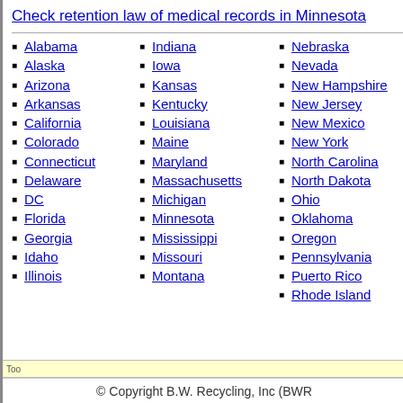Check retention law of medical records in Minnesota
Alabama
Alaska
Arizona
Arkansas
California
Colorado
Connecticut
Delaware
DC
Florida
Georgia
Idaho
Illinois
Indiana
Iowa
Kansas
Kentucky
Louisiana
Maine
Maryland
Massachusetts
Michigan
Minnesota
Mississippi
Missouri
Montana
Nebraska
Nevada
New Hampshire
New Jersey
New Mexico
New York
North Carolina
North Dakota
Ohio
Oklahoma
Oregon
Pennsylvania
Puerto Rico
Rhode Island
© Copyright B.W. Recycling, Inc (BWR